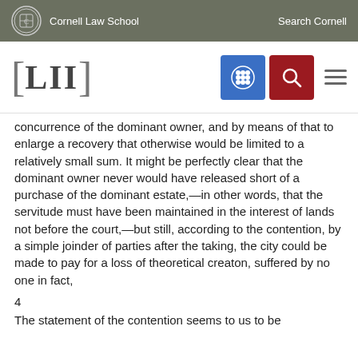Cornell Law School | Search Cornell
[Figure (logo): LII Legal Information Institute logo with navigation icons (grid icon in blue, search icon in red, and hamburger menu)]
concurrence of the dominant owner, and by means of that to enlarge a recovery that otherwise would be limited to a relatively small sum. It might be perfectly clear that the dominant owner never would have released short of a purchase of the dominant estate,—in other words, that the servitude must have been maintained in the interest of lands not before the court,—but still, according to the contention, by a simple joinder of parties after the taking, the city could be made to pay for a loss of theoretical creaton, suffered by no one in fact,
4
The statement of the contention seems to us to be